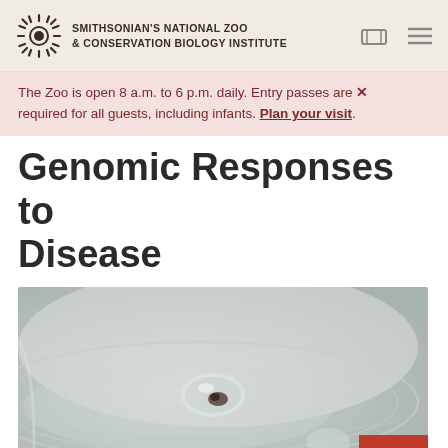SMITHSONIAN'S NATIONAL ZOO & CONSERVATION BIOLOGY INSTITUTE
The Zoo is open 8 a.m. to 6 p.m. daily. Entry passes are required for all guests, including infants. Plan your visit.
Genomic Responses to Disease
[Figure (photo): Close-up photo of a small biological specimen in a clear petri dish or container, with water and reflective surfaces visible.]